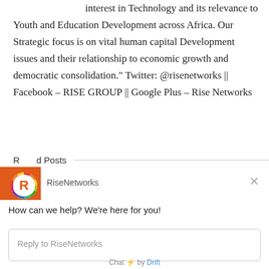interest in Technology and its relevance to Youth and Education Development across Africa. Our Strategic focus is on vital human capital Development issues and their relationship to economic growth and democratic consolidation." Twitter: @risenetworks || Facebook - RISE GROUP || Google Plus - Rise Networks
Related Posts
[Figure (screenshot): Chat widget from Drift showing RiseNetworks logo, name header, message 'How can we help? We're here for you!' and a reply input box. Footer reads 'Chat by Drift'.]